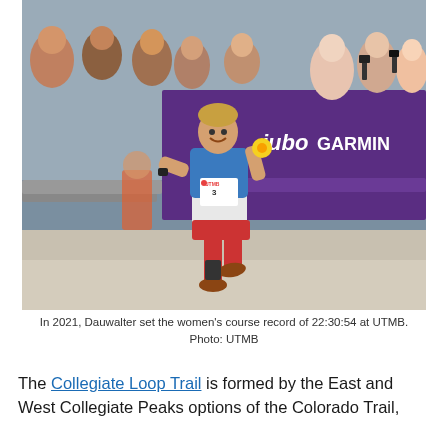[Figure (photo): A female trail runner wearing bib number 3 (UTMB) with a blue vest, white shirt, and red shorts, holding a yellow flower and smiling as she runs through the finish line area. Crowds of spectators line both sides. Purple UTMB sponsor banners including 'jubo' and 'GARMIN' are visible in the background.]
In 2021, Dauwalter set the women's course record of 22:30:54 at UTMB.
Photo: UTMB
The Collegiate Loop Trail is formed by the East and West Collegiate Peaks options of the Colorado Trail,